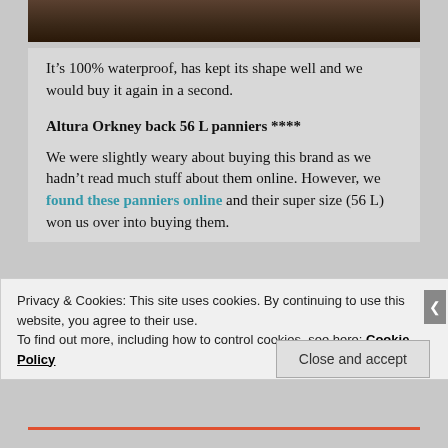[Figure (photo): Close-up photo of a dark animal (likely a cow or bull), cropped at top of page]
It’s 100% waterproof, has kept its shape well and we would buy it again in a second.
Altura Orkney back 56 L panniers ****
We were slightly weary about buying this brand as we hadn’t read much stuff about them online. However, we found these panniers online and their super size (56 L) won us over into buying them.
Privacy & Cookies: This site uses cookies. By continuing to use this website, you agree to their use.
To find out more, including how to control cookies, see here: Cookie Policy
Close and accept